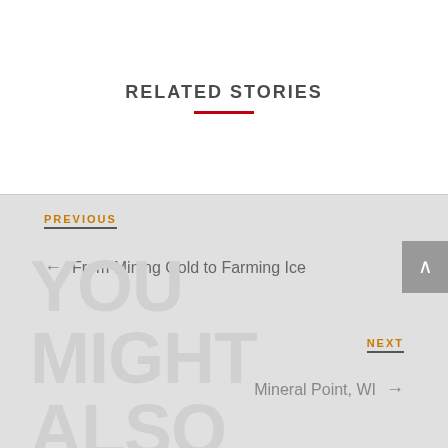RELATED STORIES
PREVIOUS
← From Mining Gold to Farming Ice
NEXT
Mineral Point, WI →
YOU MIGHT ALSO